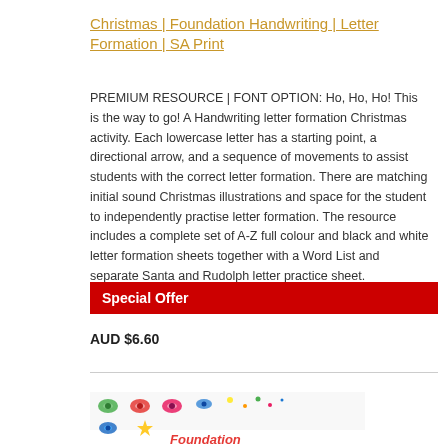Christmas | Foundation Handwriting | Letter Formation | SA Print
PREMIUM RESOURCE | FONT OPTION: Ho, Ho, Ho! This is the way to go! A Handwriting letter formation Christmas activity. Each lowercase letter has a starting point, a directional arrow, and a sequence of movements to assist students with the correct letter formation. There are matching initial sound Christmas illustrations and space for the student to independently practise letter formation. The resource includes a complete set of A-Z full colour and black and white letter formation sheets together with a Word List and separate Santa and Rudolph letter practice sheet.
Special Offer
AUD $6.60
[Figure (illustration): Colorful Christmas-themed decorative illustration with the word Foundation partially visible]